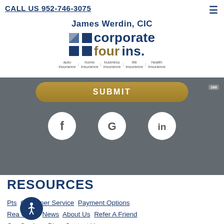CALL US 952-746-3075
[Figure (logo): Corporate Four Insurance logo with grid icon, company name in navy and gold, and insurance type sub-navigation: auto insurance, home insurance, business insurance, life insurance, health insurance]
[Figure (screenshot): Gold rounded Submit button on gray background]
[Figure (infographic): Three white circular social media icons on gray background: Facebook (f), Google (G), LinkedIn (in)]
RESOURCES
Products   Customer Service   Payment Options
Report a Claim   News   About Us   Refer A Friend
Our Carriers   Blog   Contact Us